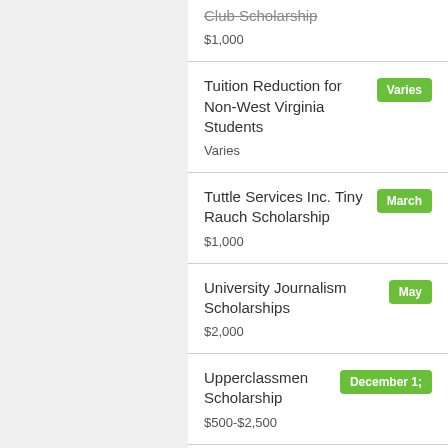Club Scholarship
$1,000
Tuition Reduction for Non-West Virginia Students
Varies
Tuttle Services Inc. Tiny Rauch Scholarship
$1,000
University Journalism Scholarships
$2,000
Upperclassmen Scholarship
$500-$2,500
Volstead Holdings